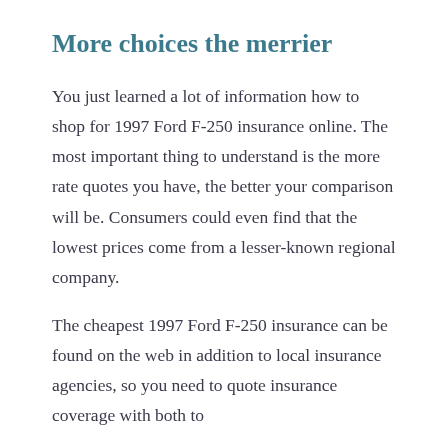More choices the merrier
You just learned a lot of information how to shop for 1997 Ford F-250 insurance online. The most important thing to understand is the more rate quotes you have, the better your comparison will be. Consumers could even find that the lowest prices come from a lesser-known regional company.
The cheapest 1997 Ford F-250 insurance can be found on the web in addition to local insurance agencies, so you need to quote insurance coverage with both to